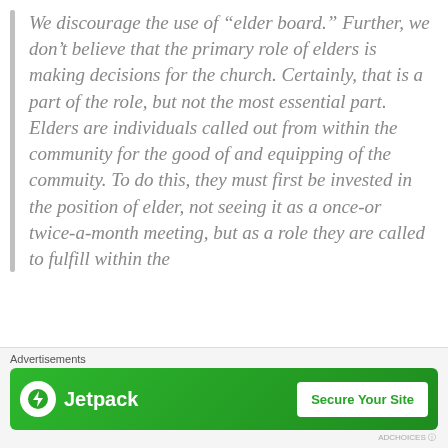We discourage the use of “elder board.” Further, we don’t believe that the primary role of elders is making decisions for the church. Certainly, that is a part of the role, but not the most essential part. Elders are individuals called out from within the community for the good of and equipping of the commuity. To do this, they must first be invested in the position of elder, not seeing it as a once-or twice-a-month meeting, but as a role they are called to fulfill within the
Advertisements Jetpack — Secure Your Site